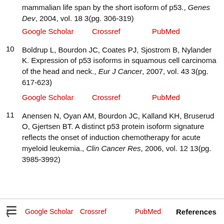mammalian life span by the short isoform of p53., Genes Dev, 2004, vol. 18 3(pg. 306-319)
Google Scholar    Crossref    PubMed
10  Boldrup L, Bourdon JC, Coates PJ, Sjostrom B, Nylander K. Expression of p53 isoforms in squamous cell carcinoma of the head and neck., Eur J Cancer, 2007, vol. 43 3(pg. 617-623)
Google Scholar    Crossref    PubMed
11  Anensen N, Oyan AM, Bourdon JC, Kalland KH, Bruserud O, Gjertsen BT. A distinct p53 protein isoform signature reflects the onset of induction chemotherapy for acute myeloid leukemia., Clin Cancer Res, 2006, vol. 12 13(pg. 3985-3992)
Google Scholar    Crossref    PubMed    References